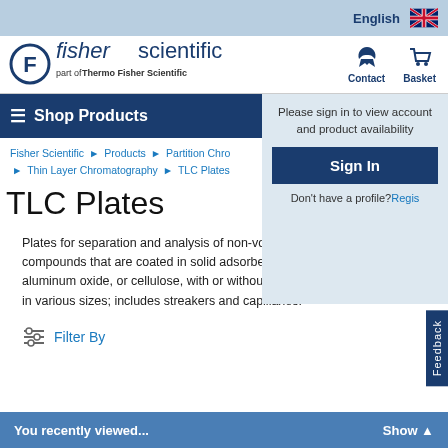English
[Figure (logo): Fisher Scientific logo - part of Thermo Fisher Scientific]
Contact
Basket
Shop Products
Please sign in to view account and product availability
Sign In
Don't have a profile? Register
Fisher Scientific > Products > Partition Chro... > Thin Layer Chromatography > TLC Plates
TLC Plates
Plates for separation and analysis of non-volatile chemical compounds that are coated in solid adsorbents, such as silica, aluminum oxide, or cellulose, with or without fluorescent indicators; in various sizes; includes streakers and capillaries.
Filter By
You recently viewed...   Show